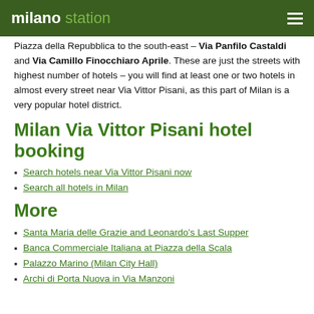milano station
Piazza della Repubblica to the south-east – Via Panfilo Castaldi and Via Camillo Finocchiaro Aprile. These are just the streets with highest number of hotels – you will find at least one or two hotels in almost every street near Via Vittor Pisani, as this part of Milan is a very popular hotel district.
Milan Via Vittor Pisani hotel booking
Search hotels near Via Vittor Pisani now
Search all hotels in Milan
More
Santa Maria delle Grazie and Leonardo's Last Supper
Banca Commerciale Italiana at Piazza della Scala
Palazzo Marino (Milan City Hall)
Archi di Porta Nuova in Via Manzoni